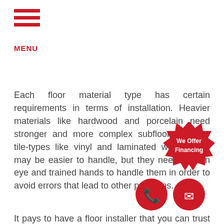[Figure (logo): Hamburger menu icon with three red horizontal bars and red MENU label below]
Each floor material type has certain requirements in terms of installation. Heavier materials like hardwood and porcelain need stronger and more complex subfloors. Lighter tile-types like vinyl and laminated wood floors may be easier to handle, but they need a keen eye and trained hands to handle them in order to avoid errors that lead to other problems.
It pays to have a floor installer that you can trust—but with the right flooring partner, quality work is always guaranteed. Liberty Floors is a trusted Maitla construction company that can handle your pr
Our floor experts and engineers have bee industry for many years. They are familia th us the
[Figure (infographic): Red starburst badge with white text 'We Offer Financing' and red circle icons with phone and mail symbols]